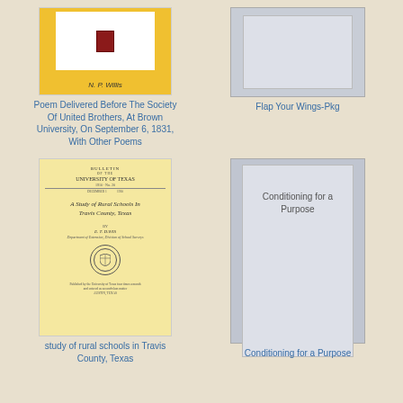[Figure (illustration): Book cover: yellow/gold cover with white area containing a small red book icon, author name N. P. Willis at bottom]
[Figure (illustration): Gray placeholder book cover with no image for Flap Your Wings-Pkg]
Poem Delivered Before The Society Of United Brothers, At Brown University, On September 6, 1831, With Other Poems
Flap Your Wings-Pkg
[Figure (illustration): Bulletin of the University of Texas cover: A Study of Rural Schools In Travis County, Texas by E. T. Davis, with university seal]
[Figure (illustration): Gray placeholder book cover with title Conditioning for a Purpose]
study of rural schools in Travis County, Texas
Conditioning for a Purpose